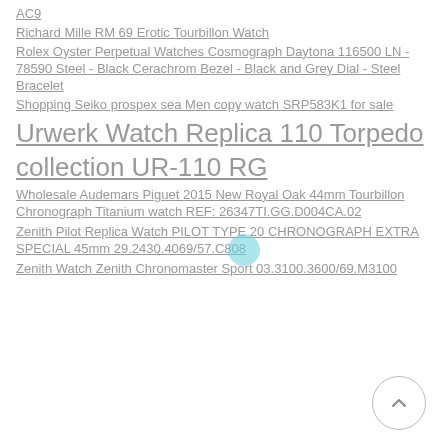AC9
Richard Mille RM 69 Erotic Tourbillon Watch
Rolex Oyster Perpetual Watches Cosmograph Daytona 116500 LN - 78590 Steel - Black Cerachrom Bezel - Black and Grey Dial - Steel Bracelet
Shopping Seiko prospex sea Men copy watch SRP583K1 for sale
Urwerk Watch Replica 110 Torpedo collection UR-110 RG
Wholesale Audemars Piguet 2015 New Royal Oak 44mm Tourbillon Chronograph Titanium watch REF: 26347TI.GG.D004CA.02
Zenith Pilot Replica Watch PILOT TYPE 20 CHRONOGRAPH EXTRA SPECIAL 45mm 29.2430.4069/57.C808
Zenith Watch Zenith Chronomaster Sport 03.3100.3600/69.M3100